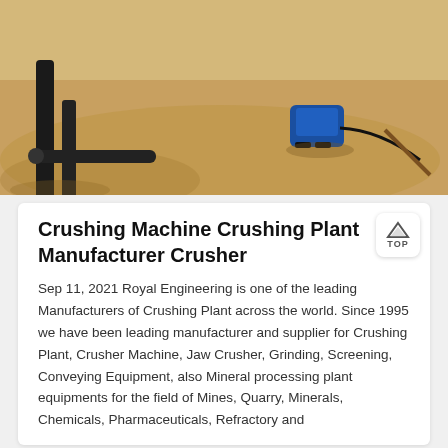[Figure (photo): Outdoor construction/mining site with sandy ground, metal pipes/posts, and a small blue generator or equipment box]
Crushing Machine Crushing Plant Manufacturer Crusher
Sep 11, 2021 Royal Engineering is one of the leading Manufacturers of Crushing Plant across the world. Since 1995 we have been leading manufacturer and supplier for Crushing Plant, Crusher Machine, Jaw Crusher, Grinding, Screening, Conveying Equipment, also Mineral processing plant equipments for the field of Mines, Quarry, Minerals, Chemicals, Pharmaceuticals, Refractory and
[Figure (photo): Industrial facility with large machinery, dark roofing structure, and crane/cable equipment visible against sky]
Message
Online Chat